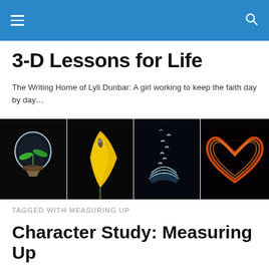3-D Lessons for Life
The Writing Home of Lyli Dunbar: A girl working to keep the faith day by day…
[Figure (photo): Four panel image strip on black background: (1) A glowing lightbulb containing a green plant seedling growing in soil; (2) A yellow calla lily flower; (3) An open book with birds and light emanating upward; (4) A glowing orange/red fiery heart shape.]
TAGGED WITH MEASURING UP
Character Study: Measuring Up